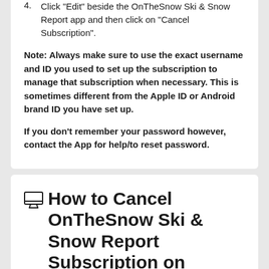4. Click "Edit" beside the OnTheSnow Ski & Snow Report app and then click on "Cancel Subscription".
Note: Always make sure to use the exact username and ID you used to set up the subscription to manage that subscription when necessary. This is sometimes different from the Apple ID or Android brand ID you have set up.
If you don't remember your password however, contact the App for help/to reset password.
How to Cancel OnTheSnow Ski & Snow Report Subscription on